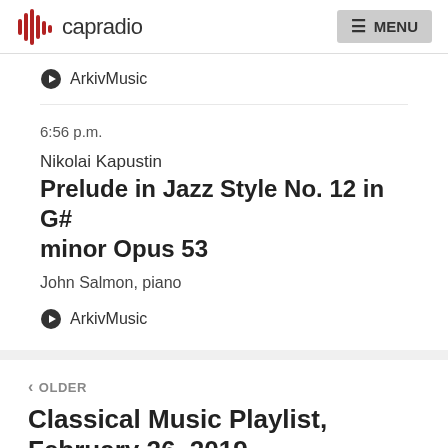capradio  MENU
ArkivMusic
6:56 p.m.
Nikolai Kapustin
Prelude in Jazz Style No. 12 in G# minor Opus 53
John Salmon, piano
ArkivMusic
OLDER
Classical Music Playlist, February 26, 2019